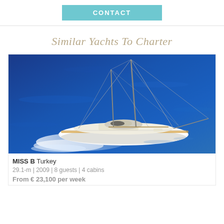CONTACT
Similar Yachts To Charter
[Figure (photo): Aerial view of a white sailing yacht (MISS B) with tall masts and rigging, sailing on deep blue water, leaving a white wake, shot from above at an angle.]
MISS B Turkey
29.1-m | 2009 | 8 guests | 4 cabins
From € 23,100 per week